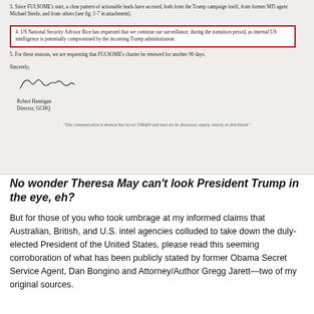[Figure (photo): Scanned document appearing to be a letter with numbered points. Point 4 is highlighted with a red border. The letter is signed by Robert Hannigan, Director GCHQ. A footer states the communication is Top Secret STRAP3.]
No wonder Theresa May can't look President Trump in the eye, eh?
But for those of you who took umbrage at my informed claims that Australian, British, and U.S. intel agencies colluded to take down the duly-elected President of the United States, please read this seeming corroboration of what has been publicly stated by former Obama Secret Service Agent, Dan Bongino and Attorney/Author Gregg Jarett—two of my original sources.